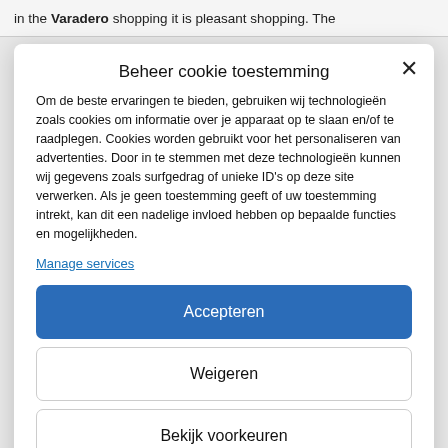in the Varadero shopping it is pleasant shopping. The
Beheer cookie toestemming
Om de beste ervaringen te bieden, gebruiken wij technologieën zoals cookies om informatie over je apparaat op te slaan en/of te raadplegen. Cookies worden gebruikt voor het personaliseren van advertenties. Door in te stemmen met deze technologieën kunnen wij gegevens zoals surfgedrag of unieke ID's op deze site verwerken. Als je geen toestemming geeft of uw toestemming intrekt, kan dit een nadelige invloed hebben op bepaalde functies en mogelijkheden.
Manage services
Accepteren
Weigeren
Bekijk voorkeuren
Cookiebeleid